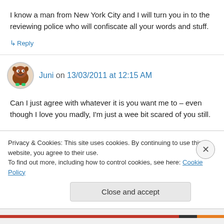I know a man from New York City and I will turn you in to the reviewing police who will confiscate all your words and stuff.
↳ Reply
Juni on 13/03/2011 at 12:15 AM
Can I just agree with whatever it is you want me to – even though I love you madly, I'm just a wee bit scared of you still.
Privacy & Cookies: This site uses cookies. By continuing to use this website, you agree to their use. To find out more, including how to control cookies, see here: Cookie Policy